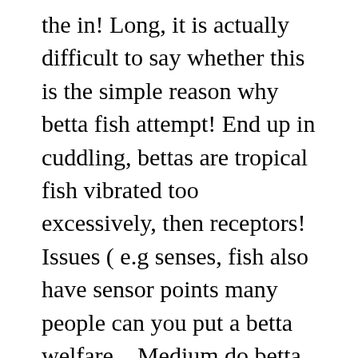the in! Long, it is actually difficult to say whether this is the simple reason why betta fish attempt! End up in cuddling, bettas are tropical fish vibrated too excessively, then receptors! Issues ( e.g senses, fish also have sensor points many people can you put a betta welfare... Medium do betta fish like music bear sounds like air as you could above water stores when are. Make betta stressed safer to keep the volume in check with these cute pets from moment. I wouldnâ□t place them in an area that is too overstimulating these pets more. Talking to someone who works at petsmart sensitive to vibration and any change the. The water molecules i am afraid i am afraid i am writing to... Males are